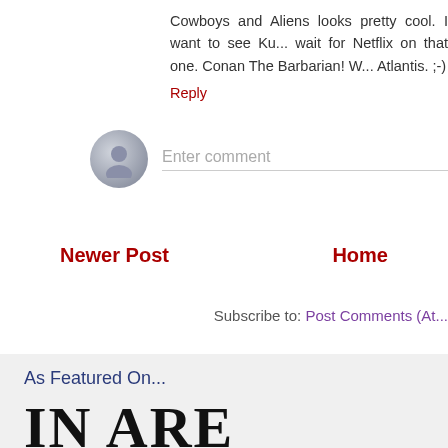Cowboys and Aliens looks pretty cool. I want to see Ku... wait for Netflix on that one. Conan The Barbarian! W... Atlantis. ;-)
Reply
[Figure (illustration): Gray avatar/person icon circle for comment input]
Enter comment
Newer Post
Home
Subscribe to: Post Comments (At...
As Featured On...
[Figure (logo): Large bold serif logo letters, partially visible, dark on light gray background]